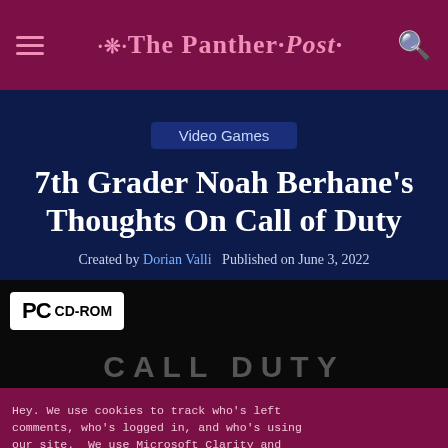The Panther Post
Video Games
7th Grader Noah Berhane's Thoughts On Call of Duty
Created by Dorian Valli   Published on June 3, 2022
[Figure (photo): PC CD-ROM game box image for Call of Duty against dark background]
Hey. We use cookies to track who's left comments, who's logged in, and who's using our site. We use Microsoft Clarity and Google Analytics to optimize our website and generate statistics. We don't know who you are, and have no way of finding out. If you continue using the site, we're assuming you consent.